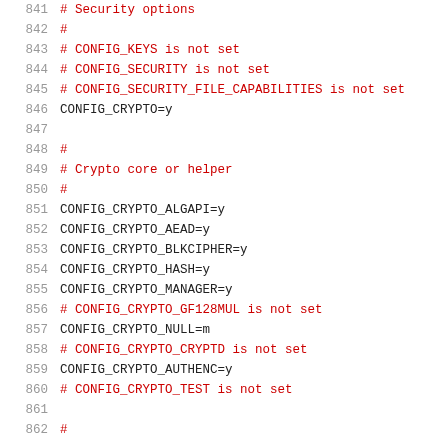841  # Security options
842  #
843  # CONFIG_KEYS is not set
844  # CONFIG_SECURITY is not set
845  # CONFIG_SECURITY_FILE_CAPABILITIES is not set
846  CONFIG_CRYPTO=y
847  
848  #
849  # Crypto core or helper
850  #
851  CONFIG_CRYPTO_ALGAPI=y
852  CONFIG_CRYPTO_AEAD=y
853  CONFIG_CRYPTO_BLKCIPHER=y
854  CONFIG_CRYPTO_HASH=y
855  CONFIG_CRYPTO_MANAGER=y
856  # CONFIG_CRYPTO_GF128MUL is not set
857  CONFIG_CRYPTO_NULL=m
858  # CONFIG_CRYPTO_CRYPTD is not set
859  CONFIG_CRYPTO_AUTHENC=y
860  # CONFIG_CRYPTO_TEST is not set
861  
862  #